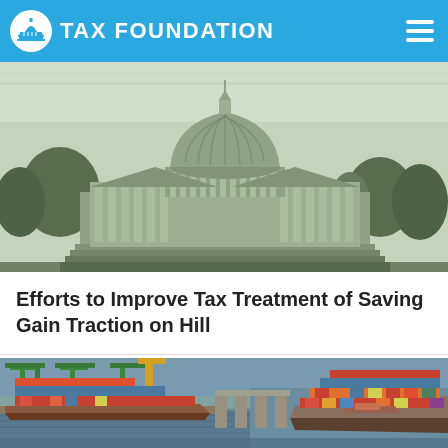TAX FOUNDATION
[Figure (photo): Aerial/close-up engraving-style image of the United States Capitol building dome, appearing as if from currency engraving, in green/grey tones.]
Efforts to Improve Tax Treatment of Saving Gain Traction on Hill
[Figure (photo): Aerial photo of a shipping port with large container ships docked at cranes along a waterway, colorful shipping containers stacked on deck.]